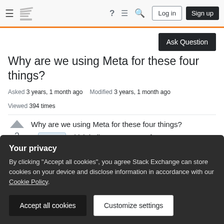Stack Exchange navigation bar with hamburger menu, logo, help, chat, search icons, Log in and Sign up buttons
Why are we using Meta for these four things?
Asked 3 years, 1 month ago   Modified 3 years, 1 month ago   Viewed 394 times
Why are we using Meta for these four things?
support — which indicates a request for
Your privacy — By clicking "Accept all cookies", you agree Stack Exchange can store cookies on your device and disclose information in accordance with our Cookie Policy.
Accept all cookies   Customize settings